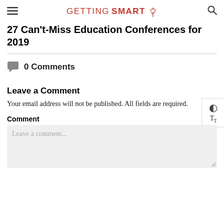GETTING SMART
27 Can't-Miss Education Conferences for 2019
0 Comments
Leave a Comment
Your email address will not be published. All fields are required.
Comment
Leave a comment...